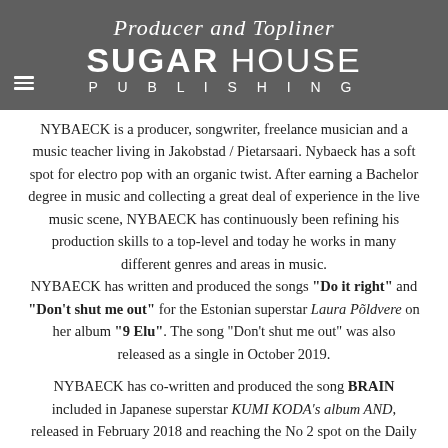Producer and Topliner — SUGAR HOUSE PUBLISHING
NYBAECK is a producer, songwriter, freelance musician and a music teacher living in Jakobstad / Pietarsaari. Nybaeck has a soft spot for electro pop with an organic twist. After earning a Bachelor degree in music and collecting a great deal of experience in the live music scene, NYBAECK has continuously been refining his production skills to a top-level and today he works in many different genres and areas in music. NYBAECK has written and produced the songs "Do it right" and "Don't shut me out" for the Estonian superstar Laura Põldvere on her album "9 Elu". The song "Don't shut me out" was also released as a single in October 2019.
NYBAECK has co-written and produced the song BRAIN included in Japanese superstar KUMI KODA's album AND, released in February 2018 and reaching the No 2 spot on the Daily albums chart in Japan day of release and the No 6 spot on the weekly album chart.. The song is written by Nybaeck, Raja Kumari and Emelie Sederholm.
The Japanese female artist MIREI released a mini-album in July